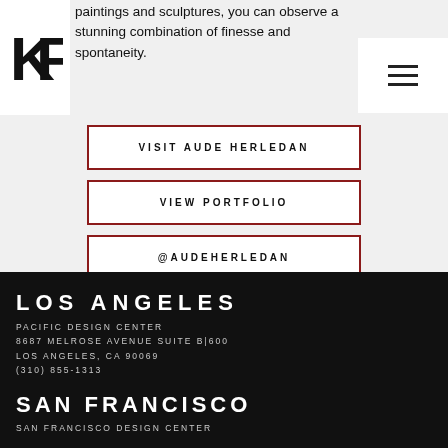paintings and sculptures, you can observe a stunning combination of finesse and spontaneity.
[Figure (logo): KF logo monogram in black]
[Figure (other): Hamburger menu icon]
VISIT AUDE HERLEDAN
VIEW PORTFOLIO
@AUDEHERLEDAN
LOS ANGELES
PACIFIC DESIGN CENTER
8687 MELROSE AVENUE SUITE B|600
LOS ANGELES, CA 90069
(310) 855-1313
SAN FRANCISCO
SAN FRANCISCO DESIGN CENTER